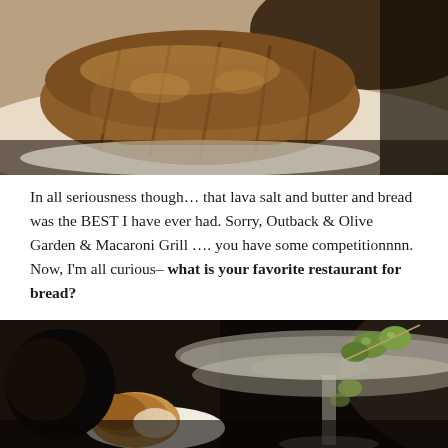[Figure (photo): Close-up photograph of sliced artisan bread on a white plate, dark background, warm tones]
In all seriousness though… that lava salt and butter and bread was the BEST I have ever had. Sorry, Outback & Olive Garden & Macaroni Grill …. you have some competitionnnn. Now, I'm all curious– what is your favorite restaurant for bread?
[Figure (photo): Dark restaurant photo showing a martini glass with olives on a skewer and a small roll of bread on a white plate in the foreground]